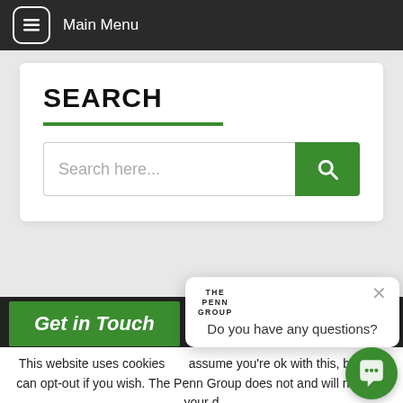Main Menu
SEARCH
Search here...
Get in Touch
This website uses cookies assume you're ok with this, but you can opt-out if you wish. The Penn Group does not and will not sale your d
Cookie settings
ACCEPT
[Figure (screenshot): Chat popup with THE PENN GROUP logo and 'Do you have any questions?' text]
[Figure (illustration): Green chat FAB button with chat icon]